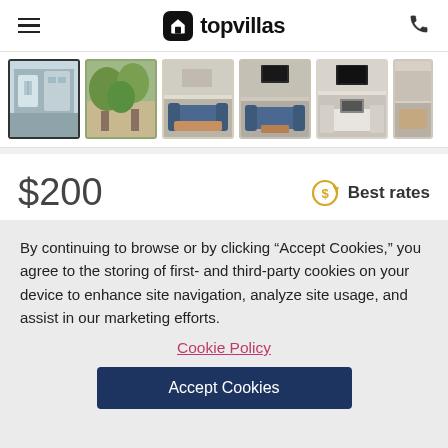topvillas
[Figure (photo): Gallery strip with 6 vacation rental property thumbnails; first image selected (porch/balcony scene), followed by indoor living room scenes]
$200
Best rates
Check-in  Check-out
By continuing to browse or by clicking “Accept Cookies,” you agree to the storing of first- and third-party cookies on your device to enhance site navigation, analyze site usage, and assist in our marketing efforts.
Cookie Policy
Accept Cookies